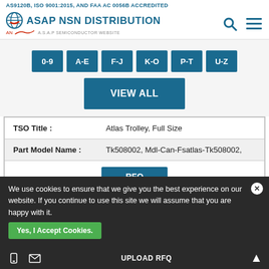AS9120B, ISO 9001:2015, AND FAA AC 0056B ACCREDITED
ASAP NSN DISTRIBUTION — AN ASAP SEMICONDUCTOR WEBSITE
0-9
A-E
F-J
K-O
P-T
U-Z
VIEW ALL
| Field | Value |
| --- | --- |
| TSO Title : | Atlas Trolley, Full Size |
| Part Model Name : | Tk508002, Mdl-Can-Fsatlas-Tk508002, |
| RFQ |  |
| TSO Number : | TSO-P1101 |
We use cookies to ensure that we give you the best experience on our website. If you continue to use this site we will assume that you are happy with it.
Yes, I Accept Cookies.
UPLOAD RFQ